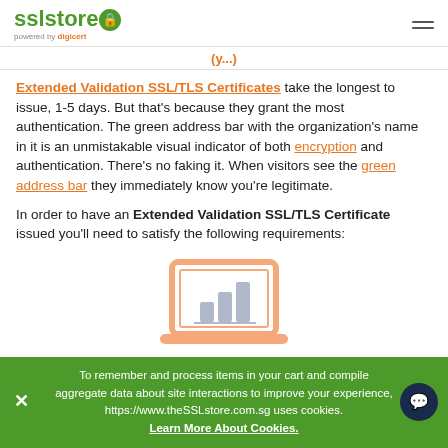SSL Store powered by digicert [logo] [hamburger menu]
(partially visible heading in orange)
Extended Validation SSL/TLS Certificates take the longest to issue, 1-5 days. But that's because they grant the most authentication. The green address bar with the organization's name in it is an unmistakable visual indicator of both encryption and authentication. There's no faking it. When visitors see the green address bar they immediately know you're legitimate.
In order to have an Extended Validation SSL/TLS Certificate issued you'll need to satisfy the following requirements:
[Figure (illustration): Illustration of a laptop with a bar chart graphic on screen, in light orange/peach color scheme]
To remember and process items in your cart and compile aggregate data about site interactions to improve your experience, https://www.theSSLstore.com.sg uses cookies. Learn More About Cookies.